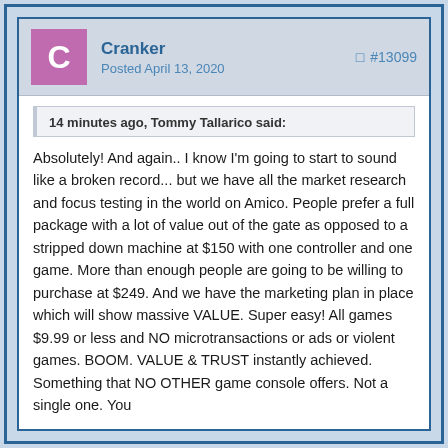Cranker | Posted April 13, 2020 | #13099
14 minutes ago, Tommy Tallarico said:
Absolutely!  And again.. I know I'm going to start to sound like a broken record... but we have all the market research and focus testing in the world on Amico.  People prefer a full package with a lot of value out of the gate as opposed to a stripped down machine at $150 with one controller and one game.  More than enough people are going to be willing to purchase at $249.  And we have the marketing plan in place which will show massive VALUE.  Super easy!  All games $9.99 or less and NO microtransactions or ads or violent games.  BOOM.  VALUE & TRUST instantly achieved.  Something that NO OTHER game console offers.  Not a single one.  You